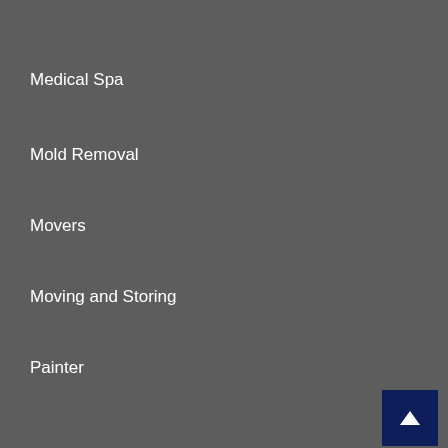Medical Spa
Mold Removal
Movers
Moving and Storing
Painter
Palm Desert, CA
Permanent Makeup
Personal Injury Lawyer
Plano Tx